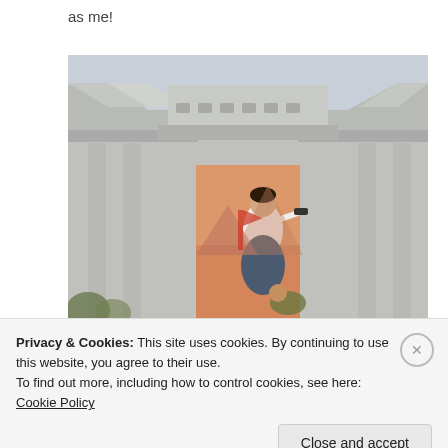as me!
[Figure (photo): A North Korean building facade with traditional Korean-style roof architecture and a large propaganda mural painted on the wall, depicting a woman in a white blouse and dark skirt aiming a pistol, with soldiers in the background. The building is gray/concrete with decorative eaves.]
Privacy & Cookies: This site uses cookies. By continuing to use this website, you agree to their use.
To find out more, including how to control cookies, see here: Cookie Policy
Close and accept